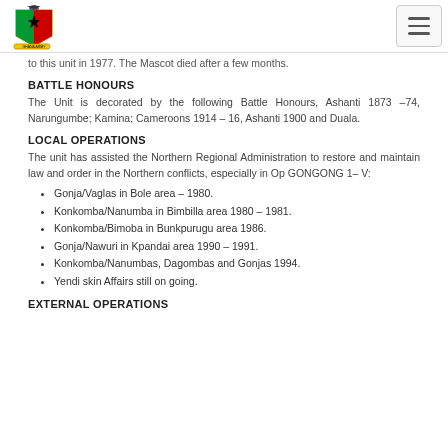[Ghana Armed Forces logo and navigation menu]
to this unit in 1977. The Mascot died after a few months.
BATTLE HONOURS
The Unit is decorated by the following Battle Honours, Ashanti 1873 –74, Narungumbe; Kamina; Cameroons 1914 – 16, Ashanti 1900 and Duala.
LOCAL OPERATIONS
The unit has assisted the Northern Regional Administration to restore and maintain law and order in the Northern conflicts, especially in Op GONGONG 1– V:
Gonja/Vaglas in Bole area – 1980.
Konkomba/Nanumba in Bimbilla area 1980 – 1981.
Konkomba/Bimoba in Bunkpurugu area 1986.
Gonja/Nawuri in Kpandai area 1990 – 1991.
Konkomba/Nanumbas, Dagombas and Gonjas 1994.
Yendi skin Affairs still on going.
EXTERNAL OPERATIONS